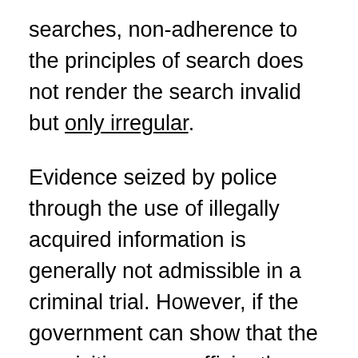searches, non-adherence to the principles of search does not render the search invalid but only irregular.
Evidence seized by police through the use of illegally acquired information is generally not admissible in a criminal trial. However, if the government can show that the acquisition was sufficiently attenuated by time or circumstance from the prior illegality, the general bar is removed and the evidence can be introduced. The general rule is that illegal or irregular means of procuring evidence is not cause for its